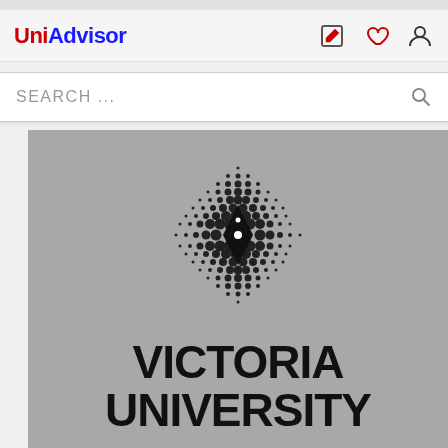[Figure (screenshot): UniAdvisor mobile app screenshot showing header with UniAdvisor logo, navigation icons (edit, heart, user), a search bar with 'SEARCH ...' placeholder, and Victoria University logo on grey background]
UniAdvisor
SEARCH ...
[Figure (logo): Victoria University logo: diamond/rhombus shape made of halftone dots with stylized pen nib in center, above bold text 'VICTORIA UNIVERSITY']